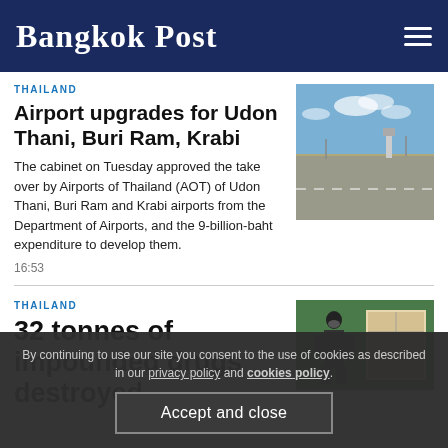Bangkok Post
THAILAND
Airport upgrades for Udon Thani, Buri Ram, Krabi
The cabinet on Tuesday approved the take over by Airports of Thailand (AOT) of Udon Thani, Buri Ram and Krabi airports from the Department of Airports, and the 9-billion-baht expenditure to develop them.
16:53
[Figure (photo): Aerial view of an airport tarmac with runway and control tower under partly cloudy sky]
THAILAND
32 tonnes of impounded drugs destroyed
[Figure (photo): Workers in masks handling impounded goods/cargo boxes in a warehouse]
By continuing to use our site you consent to the use of cookies as described in our privacy policy and cookies policy.
Accept and close